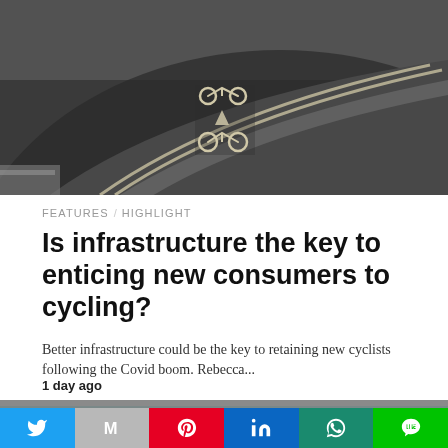[Figure (photo): Aerial view of a curved road with bicycle lane markings painted in white on dark asphalt]
FEATURES / HIGHLIGHT
Is infrastructure the key to enticing new consumers to cycling?
Better infrastructure could be the key to retaining new cyclists following the Covid boom. Rebecca...
1 day ago
[Figure (photo): Person wearing helmet on a scooter in an urban city setting with a SPIN orange banner and tall buildings in background]
[Figure (infographic): Social share bar with Twitter, Gmail, Pinterest, LinkedIn, WhatsApp, and LINE buttons]